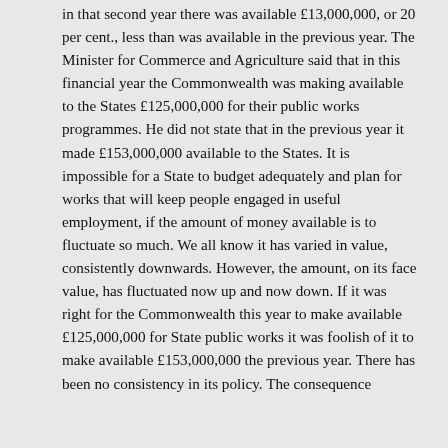in that second year there was available £13,000,000, or 20 per cent., less than was available in the previous year. The Minister for Commerce and Agriculture said that in this financial year the Commonwealth was making available to the States £125,000,000 for their public works programmes. He did not state that in the previous year it made £153,000,000 available to the States. It is impossible for a State to budget adequately and plan for works that will keep people engaged in useful employment, if the amount of money available is to fluctuate so much. We all know it has varied in value, consistently downwards. However, the amount, on its face value, has fluctuated now up and now down. If it was right for the Commonwealth this year to make available £125,000,000 for State public works it was foolish of it to make available £153,000,000 the previous year. There has been no consistency in its policy. The consequence